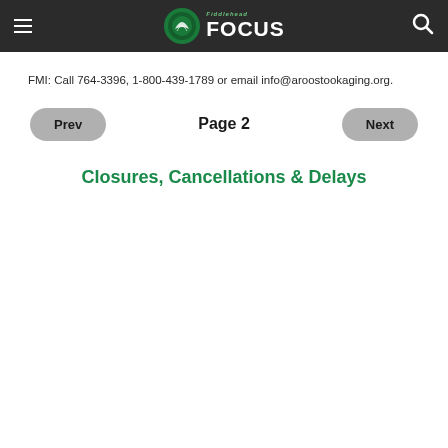Fiddlehead Focus
FMI: Call 764-3396, 1-800-439-1789 or email info@aroostookaging.org.
Prev   Page 2   Next
Closures, Cancellations & Delays